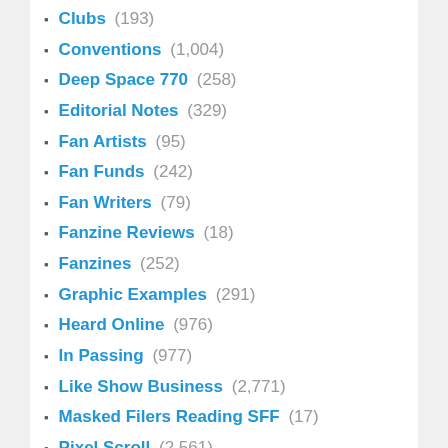Clubs (193)
Conventions (1,004)
Deep Space 770 (258)
Editorial Notes (329)
Fan Artists (95)
Fan Funds (242)
Fan Writers (79)
Fanzine Reviews (18)
Fanzines (252)
Graphic Examples (291)
Heard Online (976)
In Passing (977)
Like Show Business (2,771)
Masked Filers Reading SFF (17)
Pixel Scroll (2,561)
Poor Trufan's Almanack (426)
Reference Director! (63)
Sercon (378)
SF & Fantasy Art (215)
Skiffy (633)
Snapshots (148)
This Week in Words (20)